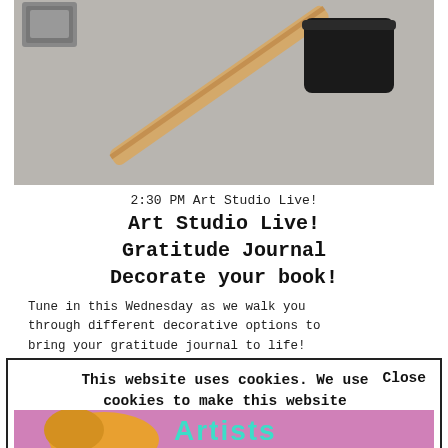[Figure (photo): Photo of a foam paint brush with wooden handle on a gray surface, viewed from above, with a small stamp or block in the upper left corner.]
2:30 PM Art Studio Live!
Art Studio Live!
Gratitude Journal
Decorate your book!
Tune in this Wednesday as we walk you through different decorative options to bring your gratitude journal to life!
This website uses cookies. We use cookies to make this website work. They help us improve your experience, understand how the website is used, and show you content based on your interests.
[Figure (photo): Partial photo at bottom showing colorful text 'Artists' in teal on a pink/purple background with orange hair visible.]